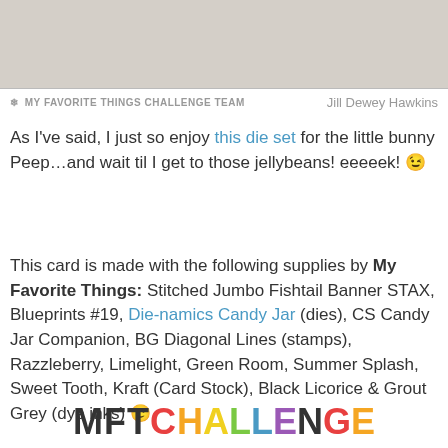[Figure (photo): Top portion of a craft/card image, cropped, showing light grey/beige background]
❄ MY FAVORITE THINGS CHALLENGE TEAM   Jill Dewey Hawkins
As I've said, I just so enjoy this die set for the little bunny Peep…and wait til I get to those jellybeans! eeeeek! 😉
This card is made with the following supplies by My Favorite Things: Stitched Jumbo Fishtail Banner STAX, Blueprints #19, Die-namics Candy Jar (dies), CS Candy Jar Companion, BG Diagonal Lines (stamps), Razzleberry, Limelight, Green Room, Summer Splash, Sweet Tooth, Kraft (Card Stock), Black Licorice & Grout Grey (dye inks) 🙂
MFT CHALLENGE